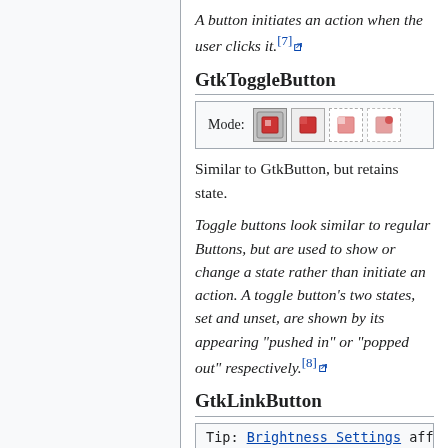A button initiates an action when the user clicks it.[7]
GtkToggleButton
[Figure (screenshot): A dialog showing Mode: with four icon buttons representing toggle button states]
Similar to GtkButton, but retains state.
Toggle buttons look similar to regular Buttons, but are used to show or change a state rather than initiate an action. A toggle button's two states, set and unset, are shown by its appearing "pushed in" or "popped out" respectively.[8]
GtkLinkButton
[Figure (screenshot): Tip box showing: Brightness Settings affect how much power is]
A GtkLinkButton is a GtkButton with a hyperlink, similar to the one used by web browsers, which triggers an action when clicked. It is often used to allow to quickly display...